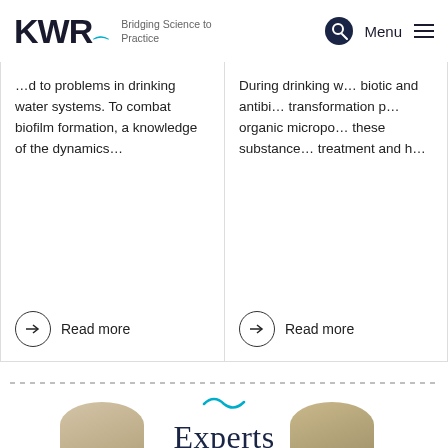KWR — Bridging Science to Practice | Menu
…d to problems in drinking water systems. To combat biofilm formation, a knowledge of the dynamics…
During drinking w… biotic and antibi… transformation p… organic micropo… these substance… treatment and h…
Read more
Read more
Experts